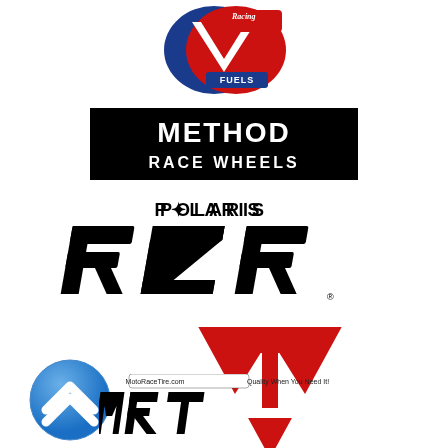[Figure (logo): VP Racing Fuels logo - red and blue shield with checkered flag and script text]
[Figure (logo): Method Race Wheels logo - black rectangle with white bold text METHOD RACE WHEELS]
[Figure (logo): Polaris RZR logo - POLARIS text above large italic RZR lettering in black]
[Figure (logo): Red VT arrow/triangle logo pointing downward]
[Figure (logo): Blue circle with white upward chevron arrow]
[Figure (logo): MotoRaceTire.com MRT logo with Quality When You Need It tagline]